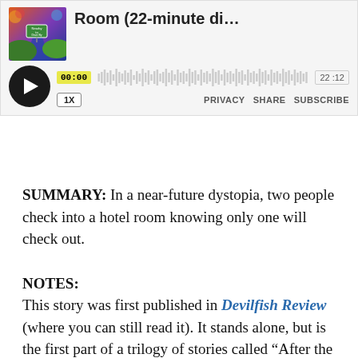[Figure (screenshot): Podcast player widget showing episode titled 'Room (22-minute di...' with album art, play button, waveform, time display 00:00 / 22:12, speed control 1X, and PRIVACY SHARE SUBSCRIBE links]
SUMMARY: In a near-future dystopia, two people check into a hotel room knowing only one will check out.
NOTES:
This story was first published in Devilfish Review (where you can still read it). It stands alone, but is the first part of a trilogy of stories called “After the Storms.”